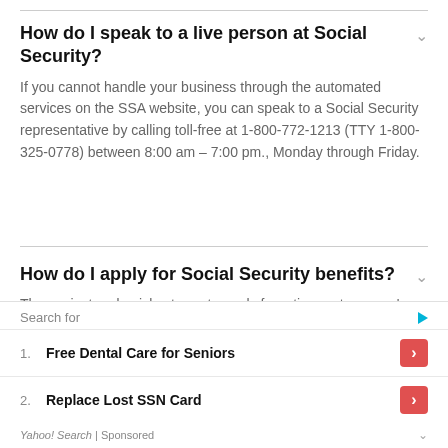How do I speak to a live person at Social Security?
If you cannot handle your business through the automated services on the SSA website, you can speak to a Social Security representative by calling toll-free at 1-800-772-1213 (TTY 1-800-325-0778) between 8:00 am – 7:00 pm., Monday through Friday.
How do I apply for Social Security benefits?
The easiest and quickest way to apply for retirement, spouse's, ex-spouse's, or Medicare benefits is to apply online. If you do not wish to use the online application, or the application for the benefit you want is not available
Search for
1. Free Dental Care for Seniors
2. Replace Lost SSN Card
Yahoo! Search | Sponsored